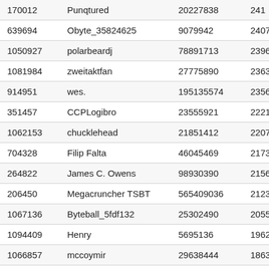| 170012 | Punqtured | 20227838 | 241... |
| 639694 | Obyte_35824625 | 9079942 | 2407... |
| 1050927 | polarbeardj | 78891713 | 2396... |
| 1081984 | zweitaktfan | 27775890 | 2363... |
| 914951 | wes. | 195135574 | 2356... |
| 351457 | CCPLogibro | 23555921 | 2221... |
| 1062153 | chucklehead | 21851412 | 2207... |
| 704328 | Filip Falta | 46045469 | 2173... |
| 264822 | James C. Owens | 98930390 | 2156... |
| 206450 | Megacruncher TSBT | 565409036 | 2123... |
| 1067136 | Byteball_5fdf132 | 25302490 | 2055... |
| 1094409 | Henry | 5695136 | 1962... |
| 1066857 | mccoymir | 29638444 | 1863... |
| 1046274 | grcpool.com-3 | 2048757948 | 1861... |
| 1074776 | bbptoshi | 136401954 | 1665... |
| 1074001 | Obyte_d9433009 | 175818391 | 1659... |